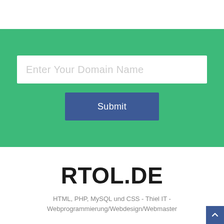[Figure (screenshot): Green banner section with a white text input field showing placeholder text 'Enter Your Domain Name' and a blue 'Submit' button below it.]
RTOL.DE
HTML, PHP, MySQL und CSS - Thiel IT - Webprogrammierung/Webdesign/Webmaster